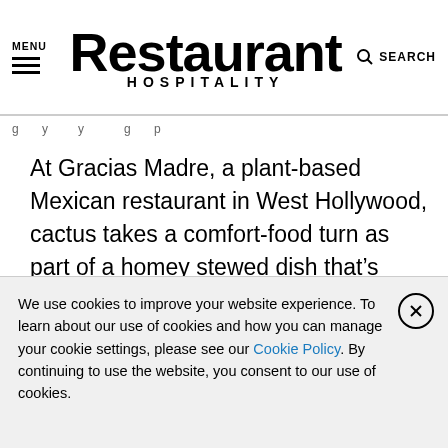MENU | Restaurant HOSPITALITY | SEARCH
At Gracias Madre, a plant-based Mexican restaurant in West Hollywood, cactus takes a comfort-food turn as part of a homey stewed dish that's vibrant with color and soft and welcoming in texture.
And cactus is getting a modern makeover at Chef Jason Alley's brand new taco spot Flora in Richmond, Va. Here, you'll find cactus as an entrée with a downhome accent: fried cactus paddle stuffed with cheese and mushrooms in a chile-tomato
We use cookies to improve your website experience. To learn about our use of cookies and how you can manage your cookie settings, please see our Cookie Policy. By continuing to use the website, you consent to our use of cookies.